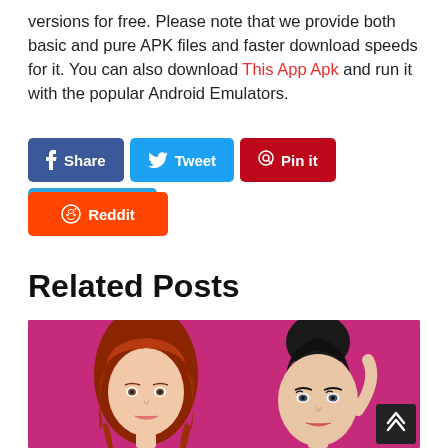versions for free. Please note that we provide both basic and pure APK files and faster download speeds for it. You can also download This App Apk and run it with the popular Android Emulators.
Share
Tweet
Pin it
Telegram
Reddit
Related Posts
[Figure (illustration): Two 3D animated female characters on a pink/magenta background. Left figure has long red/auburn hair. Right figure has dark hair in an updo.]